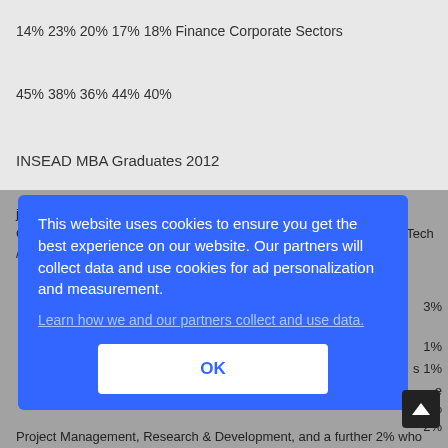14% 23% 20% 17% 18% Finance Corporate Sectors
45% 38% 36% 44% 40%
INSEAD MBA Graduates 2012
jobs by sector group 2012
Consulting 41% Finance 14% Consumer / Luxury Goods 10% High-Tech
/ 8% Telecommunications Energy/Petroleum 8% Manufacturing 5%
3%
1%
s 1%
e
6%
2%
Project Management, Research & Development, and a further 2% who
[Figure (other): Cookie consent modal overlay with blue background. Text: 'This website uses cookies to ensure you get the best experience on our website. Our partners will collect data and use cookies for ad personalization and measurement.' Link: 'Learn how we and our partners collect and use data.' Button: 'OK']